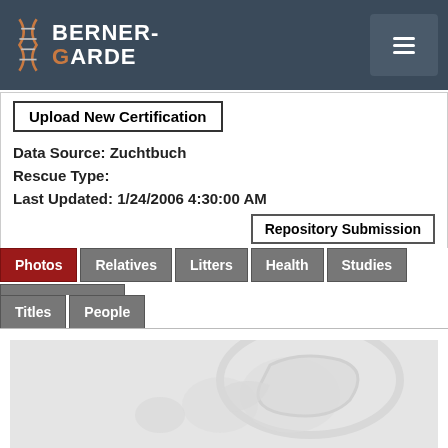BERNER-GARDE
Upload New Certification
Data Source: Zuchtbuch
Rescue Type:
Last Updated: 1/24/2006 4:30:00 AM
Repository Submission
Photos
Relatives
Litters
Health
Studies
Identifications
Titles
People
[Figure (photo): A faded/embossed photo of a Bernese Mountain Dog, appearing very light gray with subtle dog silhouette visible]